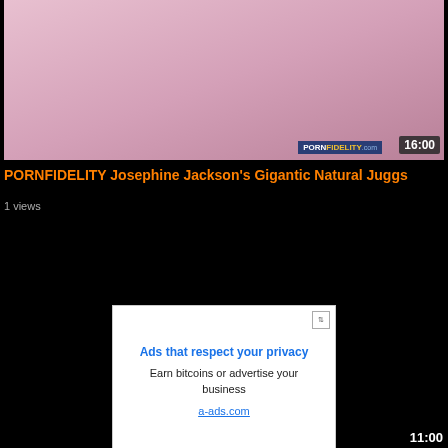[Figure (screenshot): Video thumbnail showing a person in a pink outfit in a bathroom-like pink room. Duration badge shows 16:00. PornFidelity.com watermark visible.]
PORNFIDELITY Josephine Jackson's Gigantic Natural Juggs
1 views
[Figure (screenshot): Advertisement box with icon. Text: Ads that respect your privacy. Earn bitcoins or advertise your business. a-ads.com]
11:00